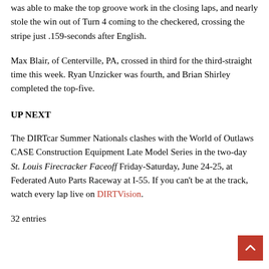was able to make the top groove work in the closing laps, and nearly stole the win out of Turn 4 coming to the checkered, crossing the stripe just .159-seconds after English.
Max Blair, of Centerville, PA, crossed in third for the third-straight time this week. Ryan Unzicker was fourth, and Brian Shirley completed the top-five.
UP NEXT
The DIRTcar Summer Nationals clashes with the World of Outlaws CASE Construction Equipment Late Model Series in the two-day St. Louis Firecracker Faceoff Friday-Saturday, June 24-25, at Federated Auto Parts Raceway at I-55. If you can't be at the track, watch every lap live on DIRTVision.
32 entries